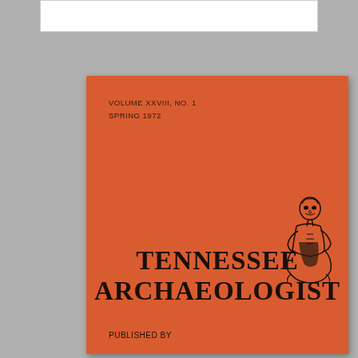VOLUME XXVIII, NO. 1
SPRING 1972
[Figure (illustration): Line drawing of a seated Native American figure, crouching with arms wrapped around knees, stylized archaeological artifact illustration]
TENNESSEE ARCHAEOLOGIST
PUBLISHED BY